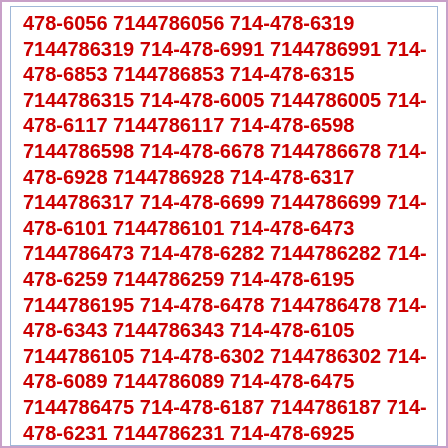478-6056 7144786056 714-478-6319 7144786319 714-478-6991 7144786991 714-478-6853 7144786853 714-478-6315 7144786315 714-478-6005 7144786005 714-478-6117 7144786117 714-478-6598 7144786598 714-478-6678 7144786678 714-478-6928 7144786928 714-478-6317 7144786317 714-478-6699 7144786699 714-478-6101 7144786101 714-478-6473 7144786473 714-478-6282 7144786282 714-478-6259 7144786259 714-478-6195 7144786195 714-478-6478 7144786478 714-478-6343 7144786343 714-478-6105 7144786105 714-478-6302 7144786302 714-478-6089 7144786089 714-478-6475 7144786475 714-478-6187 7144786187 714-478-6231 7144786231 714-478-6925 7144786925 714-478-6399 7144786399 714-478-6350 7144786350 714-478-6757 7144786757 714-478-6877 7144786877 714-478-6189 7144786189 714-478-6104 7144786104 714-478-6718 7144786718 714-478-6167 7144786167 714-478-6193